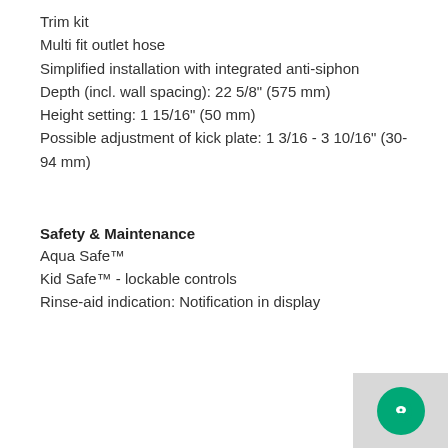Trim kit
Multi fit outlet hose
Simplified installation with integrated anti-siphon
Depth (incl. wall spacing): 22 5/8" (575 mm)
Height setting: 1 15/16" (50 mm)
Possible adjustment of kick plate: 1 3/16 - 3 10/16" (30-94 mm)
Safety & Maintenance
Aqua Safe™
Kid Safe™ - lockable controls
Rinse-aid indication: Notification in display